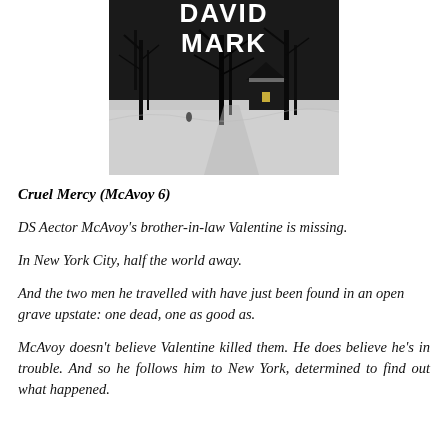[Figure (photo): Book cover image for 'Cruel Mercy' by David Mark. Black and white winter scene with snow-covered landscape, bare trees, and a house with lit window. Author name 'DAVID MARK' appears prominently in white text at the top.]
Cruel Mercy (McAvoy 6)
DS Aector McAvoy's brother-in-law Valentine is missing.
In New York City, half the world away.
And the two men he travelled with have just been found in an open grave upstate: one dead, one as good as.
McAvoy doesn't believe Valentine killed them. He does believe he's in trouble. And so he follows him to New York, determined to find out what happened.